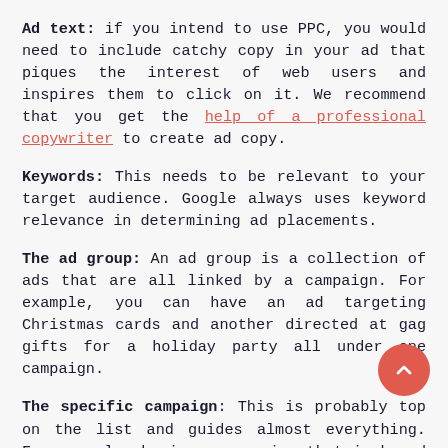Ad text: if you intend to use PPC, you would need to include catchy copy in your ad that piques the interest of web users and inspires them to click on it. We recommend that you get the help of a professional copywriter to create ad copy.
Keywords: This needs to be relevant to your target audience. Google always uses keyword relevance in determining ad placements.
The ad group: An ad group is a collection of ads that are all linked by a campaign. For example, you can have an ad targeting Christmas cards and another directed at gag gifts for a holiday party all under one campaign.
The specific campaign: This is probably top on the list and guides almost everything. For example, having a campaign that is based on a holiday theme.
How to effectively manage your PPC campaigns